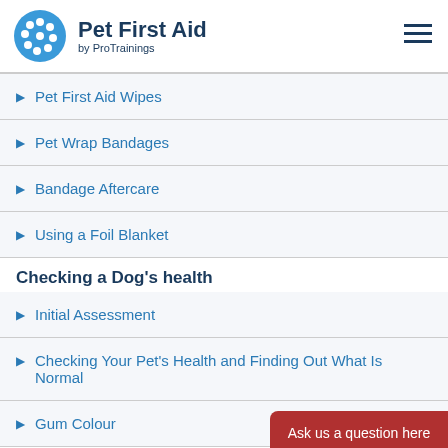Pet First Aid by ProTrainings
Pet First Aid Wipes
Pet Wrap Bandages
Bandage Aftercare
Using a Foil Blanket
Checking a Dog's health
Initial Assessment
Checking Your Pet's Health and Finding Out What Is Normal
Gum Colour
Ask us a question here